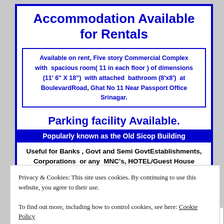Accommodation Available for Rentals
Available on rent, Five story Commercial Complex with spacious room( 11 in each floor ) of dimensions (11' 6" X 18") with attached bathroom (8'x8') at BoulevardRoad, Ghat No 11 Near Passport Office Srinagar.
Parking facility Available.
Popularly known as the Old Sicop Building
Useful for Banks , Govt and Semi GovtEstablishments, Corporations or any MNC's, HOTEL/Guest House
Rates Negotiable
For queries about Rental charges Contact Us
Privacy & Cookies: This site uses cookies. By continuing to use this website, you agree to their use.
To find out more, including how to control cookies, see here: Cookie Policy
Close and accept
Leave a Reply